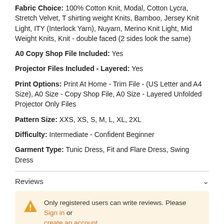Fabric Choice: 100% Cotton Knit, Modal, Cotton Lycra, Stretch Velvet, T shirting weight Knits, Bamboo, Jersey Knit Light, ITY (Interlock Yarn), Nuyarn, Merino Knit Light, Mid Weight Knits, Knit - double faced (2 sides look the same)
A0 Copy Shop File Included: Yes
Projector Files Included - Layered: Yes
Print Options: Print At Home - Trim File - (US Letter and A4 Size), A0 Size - Copy Shop File, A0 Size - Layered Unfolded Projector Only Files
Pattern Size: XXS, XS, S, M, L, XL, 2XL
Difficulty: Intermediate - Confident Beginner
Garment Type: Tunic Dress, Fit and Flare Dress, Swing Dress
Reviews
Only registered users can write reviews. Please Sign in or create an account